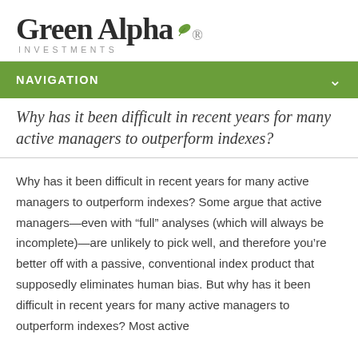Green Alpha INVESTMENTS
NAVIGATION
Why has it been difficult in recent years for many active managers to outperform indexes?
Why has it been difficult in recent years for many active managers to outperform indexes? Some argue that active managers—even with “full” analyses (which will always be incomplete)—are unlikely to pick well, and therefore you’re better off with a passive, conventional index product that supposedly eliminates human bias. But why has it been difficult in recent years for many active managers to outperform indexes? Most active